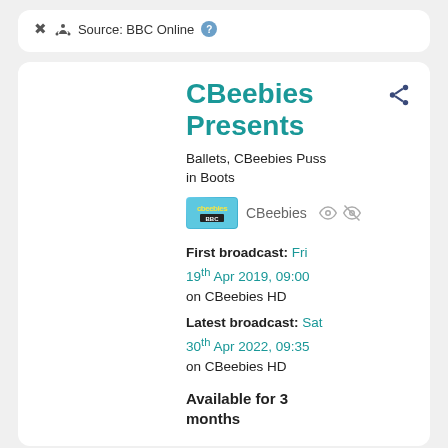Source: BBC Online
CBeebies Presents
Ballets, CBeebies Puss in Boots
CBeebies
First broadcast: Fri 19th Apr 2019, 09:00 on CBeebies HD
Latest broadcast: Sat 30th Apr 2022, 09:35 on CBeebies HD
Available for 3 months